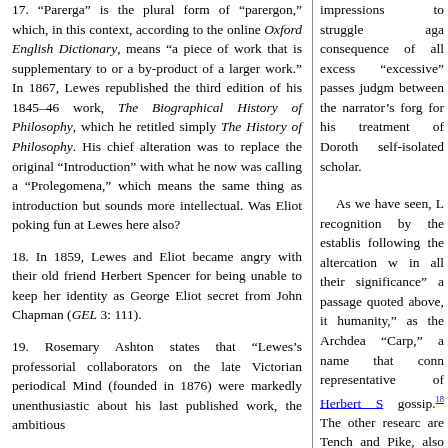17. “Parerga” is the plural form of “parergon,” which, in this context, according to the online Oxford English Dictionary, means “a piece of work that is supplementary to or a by-product of a larger work.” In 1867, Lewes republished the third edition of his 1845–46 work, The Biographical History of Philosophy, which he retitled simply The History of Philosophy. His chief alteration was to replace the original “Introduction” with what he now was calling a “Prolegomena,” which means the same thing as introduction but sounds more intellectual. Was Eliot poking fun at Lewes here also?
18. In 1859, Lewes and Eliot became angry with their old friend Herbert Spencer for being unable to keep her identity as George Eliot secret from John Chapman (GEL 3: 111).
19. Rosemary Ashton states that “Lewes’s professorial collaborators on the late Victorian periodical Mind (founded in 1876) were markedly unenthusiastic about his last published work, the ambitious
impressions to struggle aga consequence of all excess “excessive” passes judgm between the narrator’s forg for his treatment of Doroth self-isolated scholar.
As we have seen, L recognition by the establis following the altercation w in all their significance” a passage quoted above, it humanity,” as the Archdea “Carp,” a name that conn representative of Herbert S gossip.¹18 The other researc are Tench and Pike, also na section, the Dickensian n reappear in “How We Enco
The biographical sin project could be the reaso she shows how his preo Dorothea. Casaubon is no disappointed scholar who Interestingly, Eliot is care scientists, a difference tha